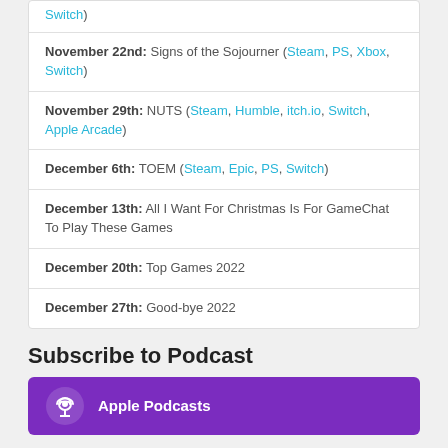Switch)
November 22nd: Signs of the Sojourner (Steam, PS, Xbox, Switch)
November 29th: NUTS (Steam, Humble, itch.io, Switch, Apple Arcade)
December 6th: TOEM (Steam, Epic, PS, Switch)
December 13th: All I Want For Christmas Is For GameChat To Play These Games
December 20th: Top Games 2022
December 27th: Good-bye 2022
Subscribe to Podcast
[Figure (other): Apple Podcasts subscription button with purple background and podcast icon]